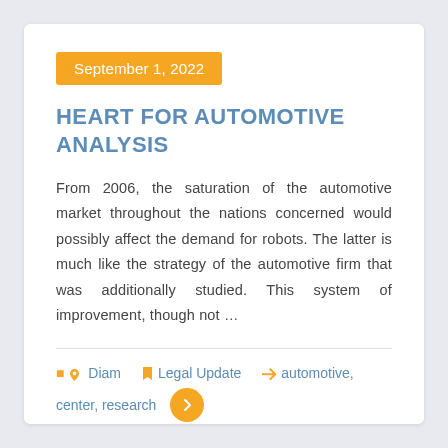September 1, 2022
HEART FOR AUTOMOTIVE ANALYSIS
From 2006, the saturation of the automotive market throughout the nations concerned would possibly affect the demand for robots. The latter is much like the strategy of the automotive firm that was additionally studied. This system of improvement, though not …
Diam  Legal Update  automotive, center, research